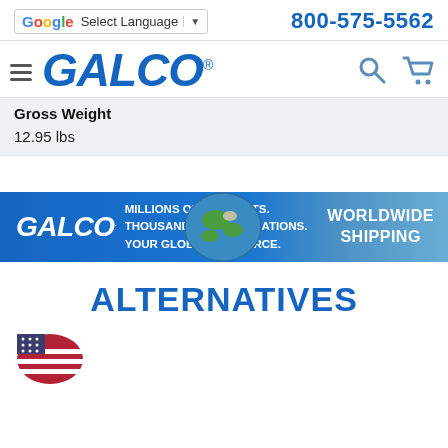Select Language | 800-575-5562
[Figure (logo): GALCO logo with hamburger menu, search icon, and cart icon navigation bar]
Gross Weight
12.95 lbs
[Figure (infographic): Galco banner: MILLIONS OF PRODUCTS. THOUSANDS OF APPLICATIONS. YOUR GLOBAL RESOURCE. with globe image and WORLDWIDE SHIPPING text]
ALTERNATIVES
[Figure (illustration): Partial US flag/shield icon at bottom left]